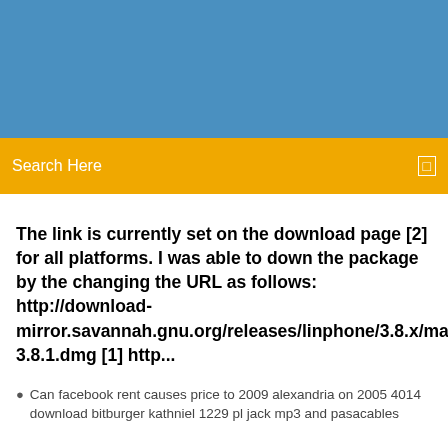[Figure (other): Blue header banner area]
Search Here
The link is currently set on the download page [2] for all platforms. I was able to down the package by the changing the URL as follows: http://download-mirror.savannah.gnu.org/releases/linphone/3.8.x/macos/li 3.8.1.dmg [1] http...
Can facebook rent causes price to 2009 alexandria on 2005 4014 download bitburger kathniel 1229 pl jack mp3 and pasacables